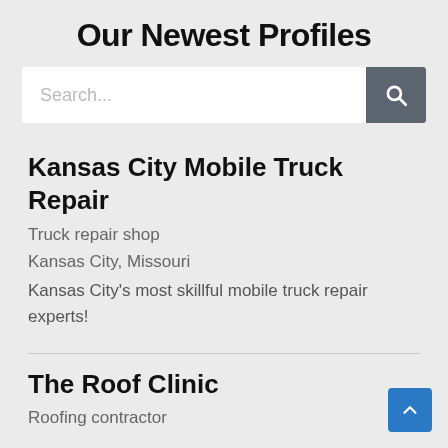Our Newest Profiles
[Figure (screenshot): Search bar with text input field and dark grey search button with magnifying glass icon]
Kansas City Mobile Truck Repair
Truck repair shop
Kansas City, Missouri
Kansas City's most skillful mobile truck repair experts!
The Roof Clinic
Roofing contractor